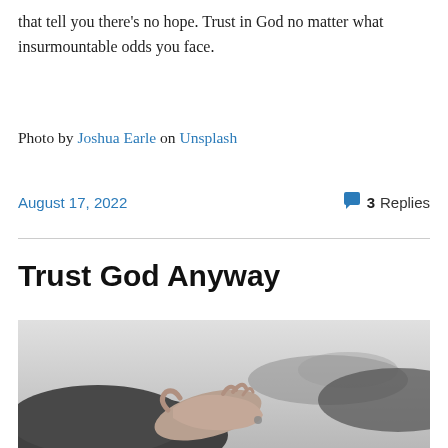that tell you there's no hope. Trust in God no matter what insurmountable odds you face.
Photo by Joshua Earle on Unsplash
August 17, 2022    3 Replies
Trust God Anyway
[Figure (photo): Black and white photograph of a person with outstretched open hands/palms facing upward, wearing a dark fleece jacket, photographed from a low angle against a light grey background.]